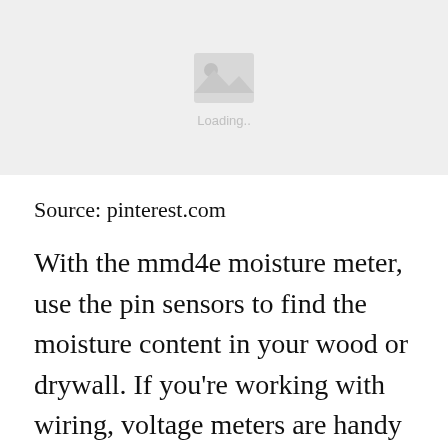[Figure (photo): Image loading placeholder with mountain/image icon and 'Loading..' text on a light gray background]
Source: pinterest.com
With the mmd4e moisture meter, use the pin sensors to find the moisture content in your wood or drywall. If you’re working with wiring, voltage meters are handy to have around for testing if wires are active,